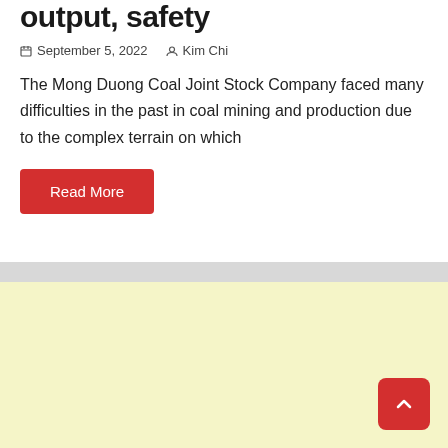output, safety
September 5, 2022   Kim Chi
The Mong Duong Coal Joint Stock Company faced many difficulties in the past in coal mining and production due to the complex terrain on which
Read More